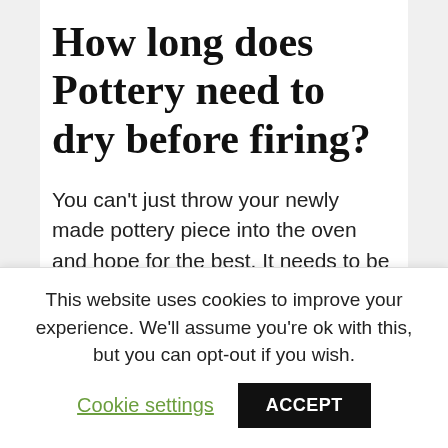How long does Pottery need to dry before firing?
You can't just throw your newly made pottery piece into the oven and hope for the best. It needs to be properly dried first, or it will crack in the kiln. The drying process can take anywhere from a few hours to a couple of days, depending on the size and thickness of your piece. Be patient and make sure your pottery is completely dry before firing it, or
This website uses cookies to improve your experience. We'll assume you're ok with this, but you can opt-out if you wish.
Cookie settings  ACCEPT